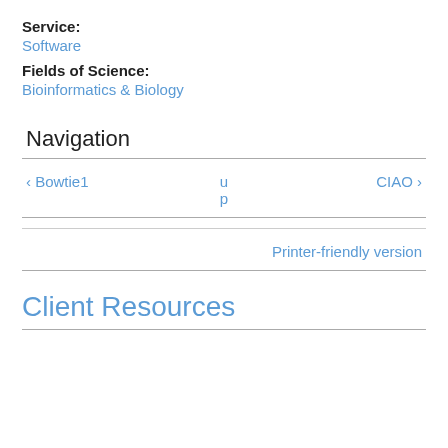Service:
Software
Fields of Science:
Bioinformatics & Biology
Navigation
‹ Bowtie1
u p
CIAO ›
Printer-friendly version
Client Resources